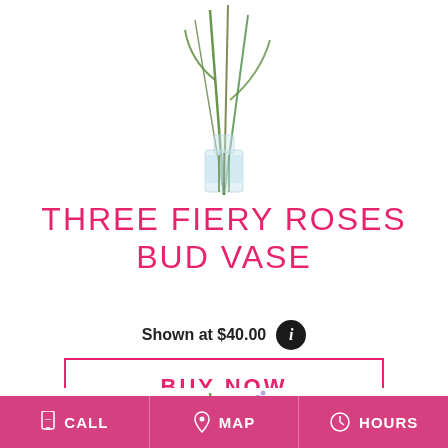[Figure (photo): Clear glass bud vase with green stems and foliage photographed on white background, partially cropped at top]
THREE FIERY ROSES BUD VASE
Shown at $40.00
BUY NOW
[Figure (photo): Purple lavender and green foliage flower arrangement, cropped at bottom of page]
CALL  MAP  HOURS